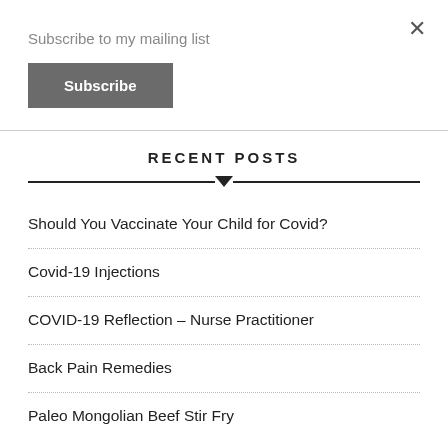Subscribe to my mailing list
Subscribe
RECENT POSTS
Should You Vaccinate Your Child for Covid?
Covid-19 Injections
COVID-19 Reflection – Nurse Practitioner
Back Pain Remedies
Paleo Mongolian Beef Stir Fry